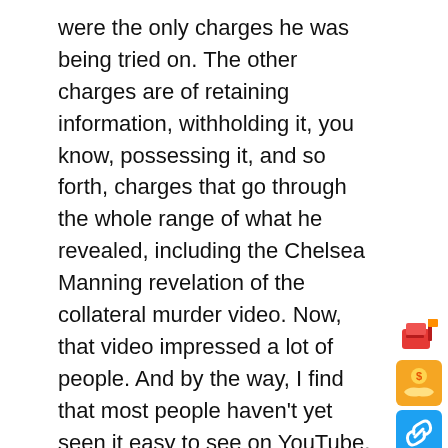were the only charges he was being tried on. The other charges are of retaining information, withholding it, you know, possessing it, and so forth, charges that go through the whole range of what he revealed, including the Chelsea Manning revelation of the collateral murder video. Now, that video impressed a lot of people. And by the way, I find that most people haven't yet seen it easy to see on YouTube.
Paul JayWe're going to run some of the footage of what Manning released at the end of this interview.
Daniel Ellsberg People should see it. Its in a couple of forms. See it in the full form of, its about, 30, 31 minutes for the final thing, which shows people being murdered by Americans who are laughing about it at the time, at the time, asking for permission to kill, sounding like boys on a soccer field, asking for the
[Figure (other): Social sharing sidebar icons: red mailbox/newsletter icon, yellow hand with dollar coin icon, blue chain-link icon, blue email envelope icon, red Gmail M icon, blue Facebook F icon]